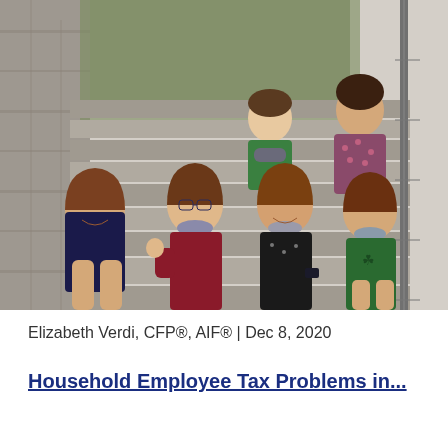[Figure (photo): Group photo of children sitting on outdoor stone steps. Four girls sit in the front row, some wearing masks pulled down. A boy in a green shirt and a woman in a floral dress sit on steps behind them. Stone wall visible on the left, metal railing on the right.]
Elizabeth Verdi, CFP®, AIF® | Dec 8, 2020
Household Employee Tax Problems in...